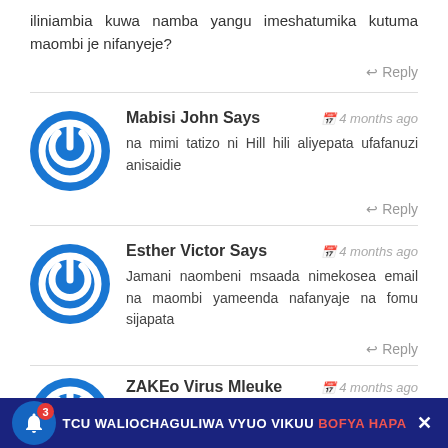iliniambia kuwa namba yangu imeshatumika kutuma maombi je nifanyeje?
↩ Reply
Mabisi John Says — 4 months ago
na mimi tatizo ni Hill hili aliyepata ufafanuzi anisaidie
↩ Reply
Esther Victor Says — 4 months ago
Jamani naombeni msaada nimekosea email na maombi yameenda nafanyaje na fomu sijapata
↩ Reply
ZAKEo Virus Mleuke Says — 4 months ago
TCU WALIOCHAGULIWA VYUO VIKUU BOFYA HAPA